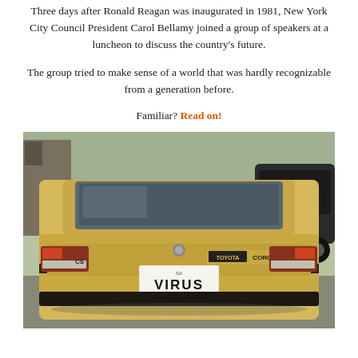Three days after Ronald Reagan was inaugurated in 1981, New York City Council President Carol Bellamy joined a group of speakers at a luncheon to discuss the country's future.
The group tried to make sense of a world that was hardly recognizable from a generation before.
Familiar? Read on!
[Figure (photo): Rear view of a yellow/tan Toyota Corona with a South Australian license plate reading 'VIRUS', parked on a street with other vehicles visible in the background.]